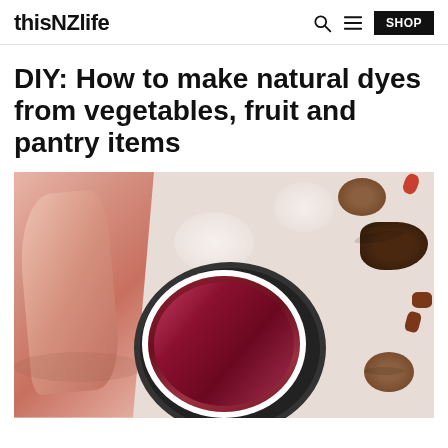thisNZlife  [search icon] [menu icon] SHOP
DIY: How to make natural dyes from vegetables, fruit and pantry items
[Figure (photo): Overhead flat lay photo showing a white enamel bowl filled with dark red/maroon dye liquid and pink fabric being dyed, a loose pink cloth on the left side, and various dried nuts/seeds (avocado seeds, walnuts) scattered on a white background on the right side.]